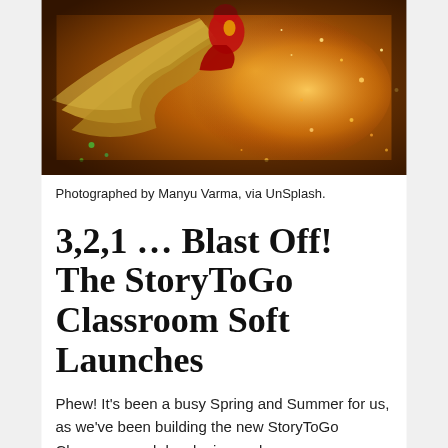[Figure (photo): A dramatic photo of a performer in a red costume spinning with a large flowing golden/straw skirt amid sparks and glowing particles against a warm orange-brown background.]
Photographed by Manyu Varma, via UnSplash.
3,2,1 … Blast Off! The StoryToGo Classroom Soft Launches
Phew!  It's been a busy Spring and Summer for us, as we've been building the new StoryToGo Classroom and developing and